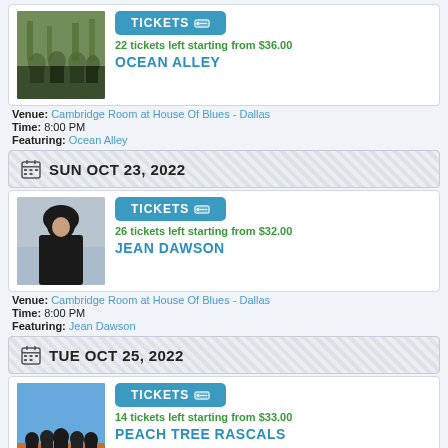[Figure (photo): Photo of Ocean Alley band members outdoors]
22 tickets left starting from $36.00
OCEAN ALLEY
Venue: Cambridge Room at House Of Blues - Dallas
Time: 8:00 PM
Featuring: Ocean Alley
SUN OCT 23, 2022
[Figure (photo): Photo of Jean Dawson in black hoodie]
26 tickets left starting from $32.00
JEAN DAWSON
Venue: Cambridge Room at House Of Blues - Dallas
Time: 8:00 PM
Featuring: Jean Dawson
TUE OCT 25, 2022
[Figure (photo): Photo of Peach Tree Rascals group outdoors]
14 tickets left starting from $33.00
PEACH TREE RASCALS
Venue: Cambridge Room at House Of Blues - Dallas
Time: 8:00 PM